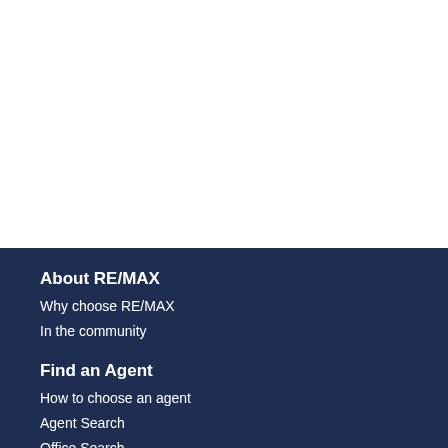About RE/MAX
Why choose RE/MAX
In the community
Find an Agent
How to choose an agent
Agent Search
Office Search